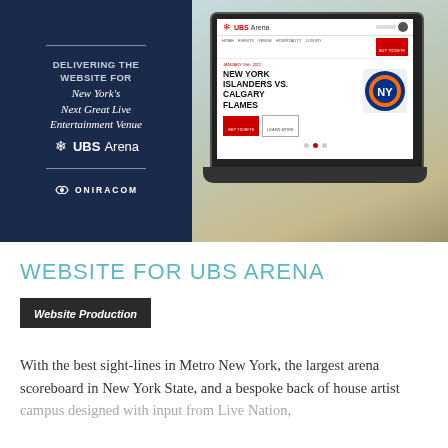[Figure (screenshot): Left dark navy panel with Oniracom branding and text 'DELIVERING THE WEBSITE FOR New York's Next Great Live Entertainment Venue UBS Arena', alongside a laptop screenshot showing the UBS Arena website with New York Islanders vs Calgary Flames event listing]
WEBSITE FOR UBS ARENA
Website Production
With the best sight-lines in Metro New York, the largest arena scoreboard in New York State, and a bespoke back of house artist campus designed with input from Live Nation,